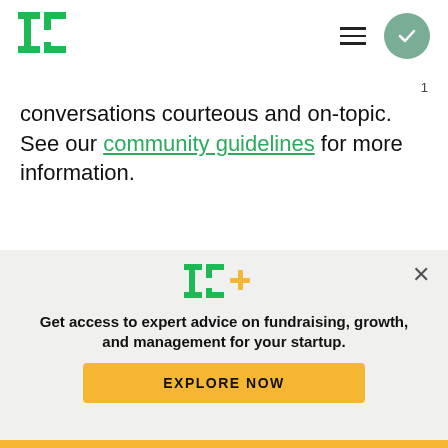TechCrunch logo, hamburger menu, circle check icon
conversations courteous and on-topic. See our community guidelines for more information.
Log in | Sign up
Be the first to comment...
[Figure (infographic): TechCrunch TC+ promotional banner with TC+ logo, text 'Get access to expert advice on fundraising, growth, and management for your startup.' and 'EXPLORE NOW' button]